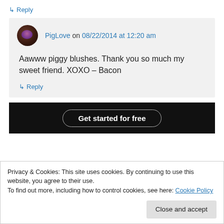↳ Reply
PigLove on 08/22/2014 at 12:20 am
Aawww piggy blushes. Thank you so much my sweet friend. XOXO – Bacon
↳ Reply
[Figure (screenshot): Dark banner with 'Get started for free' button]
Privacy & Cookies: This site uses cookies. By continuing to use this website, you agree to their use. To find out more, including how to control cookies, see here: Cookie Policy
Close and accept